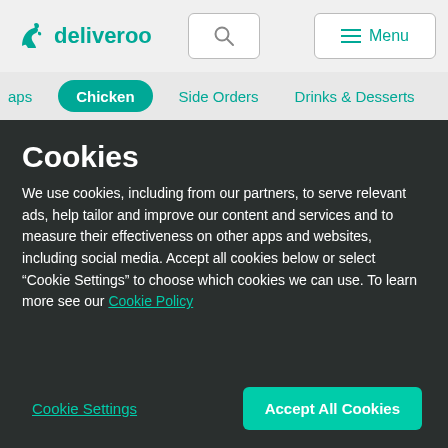[Figure (logo): Deliveroo kangaroo logo with text 'deliveroo', search icon button, and Menu button in a light gray navigation bar]
apps  Chicken  Side Orders  Drinks & Desserts
Cookies
We use cookies, including from our partners, to serve relevant ads, help tailor and improve our content and services and to measure their effectiveness on other apps and websites, including social media. Accept all cookies below or select “Cookie Settings” to choose which cookies we can use. To learn more see our Cookie Policy
Cookie Settings  Accept All Cookies